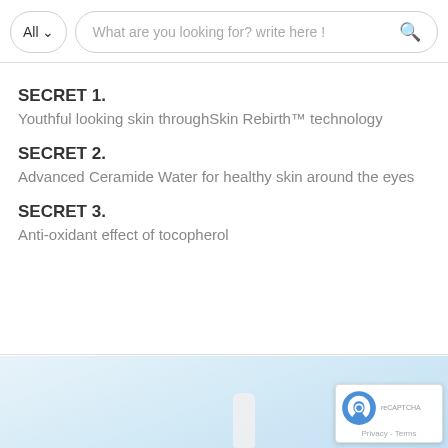All | What are you looking for? write here !
SECRET 1.
Youthful looking skin throughSkin Rebirth™ technology
SECRET 2.
Advanced Ceramide Water for healthy skin around the eyes
SECRET 3.
Anti-oxidant effect of tocopherol
[Figure (photo): Product bottle on light blue gradient background with reCAPTCHA badge in bottom right corner]